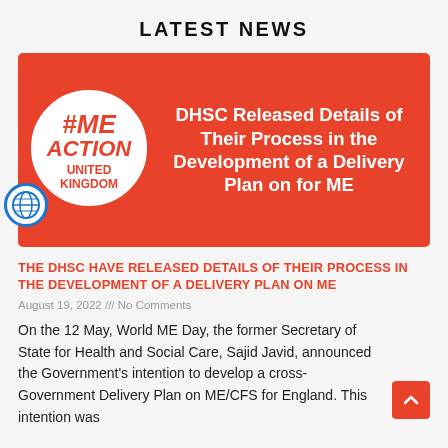LATEST NEWS
[Figure (illustration): Red banner with #ME ACTION UNITED KINGDOM circular logo on left and white text 'DHSC Released Details of Their Process in the Development of a Delivery Plan on for ME' on right]
THE DHSC HAVE RELEASED DETAILS OF THEIR PROCESS IN THE DEVELOPMENT OF A DELIVERY PLAN ON ME
August 19, 2022 /// No Comments
On the 12 May, World ME Day, the former Secretary of State for Health and Social Care, Sajid Javid, announced the Government's intention to develop a cross-Government Delivery Plan on ME/CFS for England. This intention was